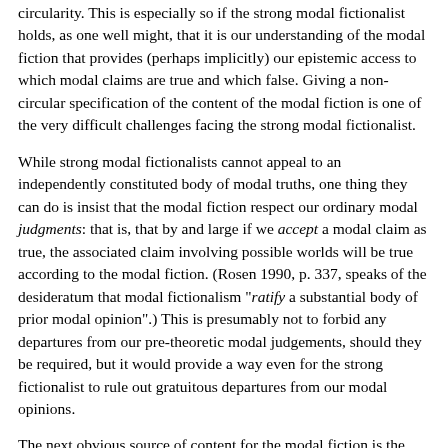circularity. This is especially so if the strong modal fictionalist holds, as one well might, that it is our understanding of the modal fiction that provides (perhaps implicitly) our epistemic access to which modal claims are true and which false. Giving a non-circular specification of the content of the modal fiction is one of the very difficult challenges facing the strong modal fictionalist.
While strong modal fictionalists cannot appeal to an independently constituted body of modal truths, one thing they can do is insist that the modal fiction respect our ordinary modal judgments: that is, that by and large if we accept a modal claim as true, the associated claim involving possible worlds will be true according to the modal fiction. (Rosen 1990, p. 337, speaks of the desideratum that modal fictionalism "ratify a substantial body of prior modal opinion".) This is presumably not to forbid any departures from our pre-theoretic modal judgements, should they be required, but it would provide a way even for the strong fictionalist to rule out gratuitous departures from our modal opinions.
The next obvious source of content for the modal fiction is the literal truth about our actual world (Rosen 1990, p. 335). The addition of all literally true non-modal propositions (in a suitable sense of "non-modal") to the fiction as part of its description of the actual world is useful, since it provides a rich source of content that can be extended by, for instance, a principle of recombination